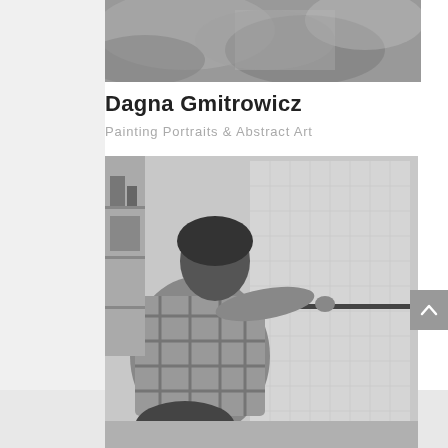[Figure (photo): Black and white photo of an abstract painting, close-up of painted canvas with brushstrokes in grey tones]
Dagna Gmitrowicz
Painting Portraits & Abstract Art
[Figure (photo): Black and white photograph of an artist (person in plaid shirt) working on a large canvas or board mounted on a wall in a studio]